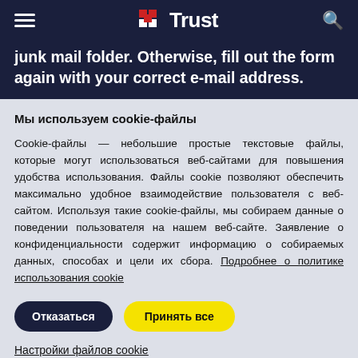Trust
junk mail folder. Otherwise, fill out the form again with your correct e-mail address.
Мы используем cookie-файлы
Cookie-файлы — небольшие простые текстовые файлы, которые могут использоваться веб-сайтами для повышения удобства использования. Файлы cookie позволяют обеспечить максимально удобное взаимодействие пользователя с веб-сайтом. Используя такие cookie-файлы, мы собираем данные о поведении пользователя на нашем веб-сайте. Заявление о конфиденциальности содержит информацию о собираемых данных, способах и цели их сбора. Подробнее о политике использования cookie
Отказаться | Принять все
Настройки файлов cookie